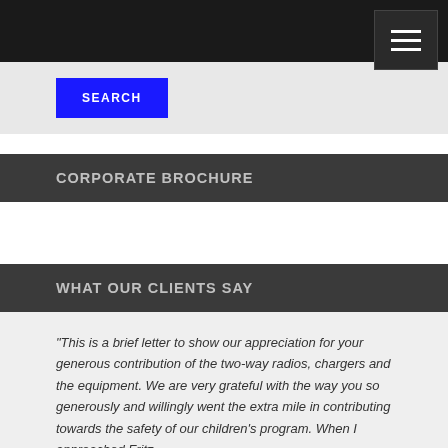SEARCH
CORPORATE BROCHURE
WHAT OUR CLIENTS SAY
"This is a brief letter to show our appreciation for your generous contribution of the two-way radios, chargers and the equipment. We are very grateful with the way you so generously and willingly went the extra mile in contributing towards the safety of our children's program. When I approached Fritz